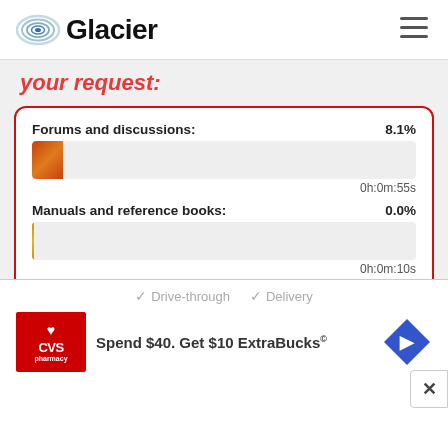Glacier
your request:
[Figure (bar-chart): Forums and discussions / Manuals and reference books / Data from registers]
Drive-through  Delivery
Spend $40. Get $10 ExtraBucks